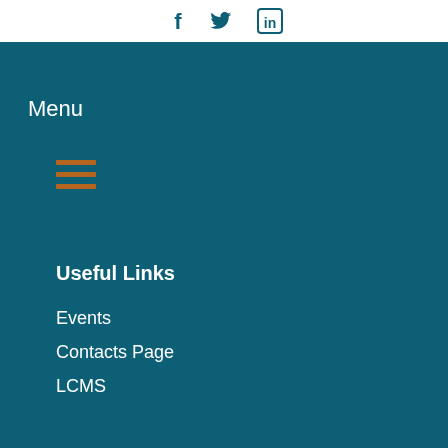[Figure (illustration): Social media icons: Facebook (f), Twitter (bird icon), LinkedIn (in) in dark teal color on white background]
Menu
[Figure (illustration): Hamburger menu icon with three horizontal lines in brown/orange color]
Useful Links
Events
Contacts Page
LCMS